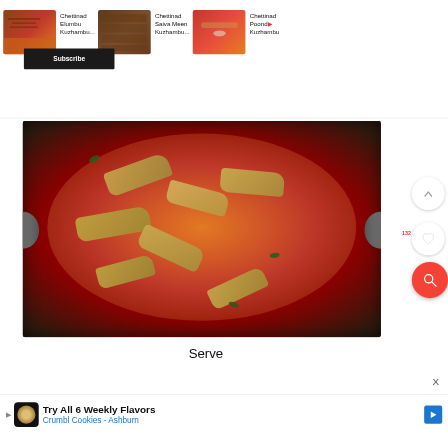[Figure (screenshot): Screenshot of a recipe website showing three Chettinad curry thumbnail images at top with titles: Chettinad Elumbu Kuzhambu..., Chettinad Saiva Meen Kuzhambu..., Chettinad Poond Kuzhambu]
Chettinad Elumbu Kuzhambu...
Chettinad Saiva Meen Kuzhambu...
Chettinad Poond Kuzhambu
Subscribe
[Figure (photo): A large steel kadai/pan filled with Chettinad curry made of pieces of vegetable (likely raw banana or gourd) in a rich red-orange spiced gravy with curry leaves, photographed from slightly above]
Serve
[Figure (screenshot): Advertisement banner: Try All 6 Weekly Flavors - Crumbl Cookies - Ashburn]